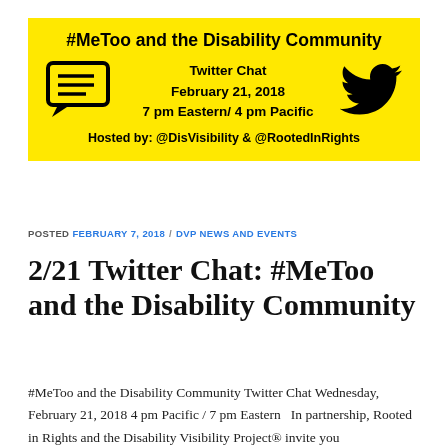[Figure (infographic): Yellow banner for a Twitter Chat event: '#MeToo and the Disability Community', showing a speech bubble icon, Twitter bird icon, event details (February 21, 2018, 7 pm Eastern / 4 pm Pacific), and hosted by @DisVisibility & @RootedInRights.]
POSTED FEBRUARY 7, 2018 / DVP NEWS AND EVENTS
2/21 Twitter Chat: #MeToo and the Disability Community
#MeToo and the Disability Community Twitter Chat Wednesday, February 21, 2018 4 pm Pacific / 7 pm Eastern   In partnership, Rooted in Rights and the Disability Visibility Project® invite you